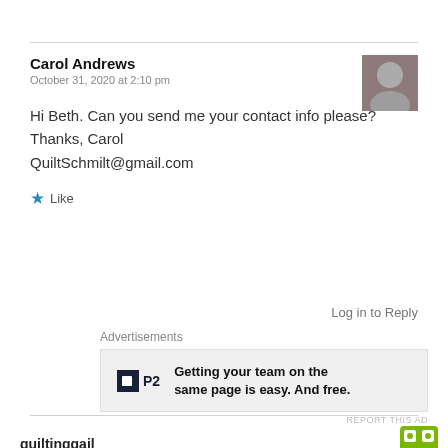Carol Andrews
October 31, 2020 at 2:10 pm
Hi Beth. Can you send me your contact info please? Thanks, Carol QuiltSchmilt@gmail.com
Like
Log in to Reply
Advertisements
[Figure (screenshot): P2 advertisement banner: Getting your team on the same page is easy. And free.]
REPORT THIS AD
quiltinggail